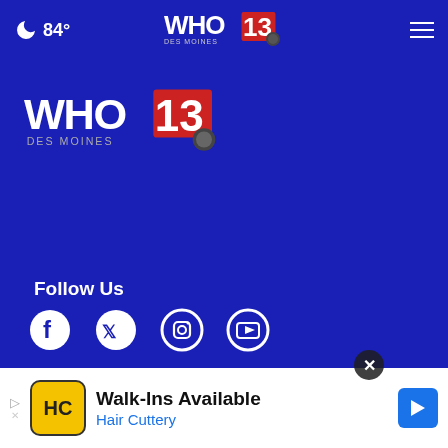84° | WHO 13 Des Moines | Menu
[Figure (logo): WHO 13 Des Moines NBC logo - main large version]
Follow Us
[Figure (infographic): Social media icons: Facebook, Twitter, Instagram, YouTube]
News App
[Figure (infographic): Download on the App Store button for News App]
Weather App
[Figure (infographic): Download on the App Store button for Weather App]
[Figure (infographic): Ad banner: Hair Cuttery Walk-Ins Available]
Walk-Ins Available — Hair Cuttery